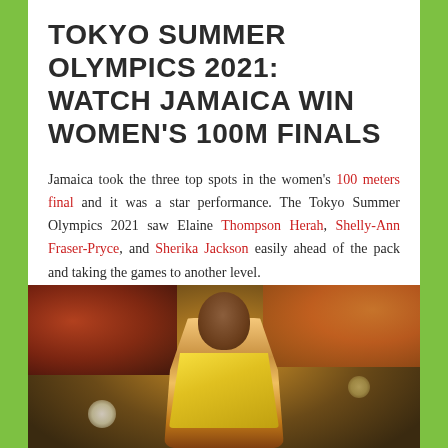TOKYO SUMMER OLYMPICS 2021: WATCH JAMAICA WIN WOMEN'S 100M FINALS
Jamaica took the three top spots in the women's 100 meters final and it was a star performance. The Tokyo Summer Olympics 2021 saw Elaine Thompson Herah, Shelly-Ann Fraser-Pryce, and Sherika Jackson easily ahead of the pack and taking the games to another level.
[Figure (photo): A Jamaican female sprinter wearing a yellow jersey, mouth open in expression of shock or celebration, photographed during a race with a blurred crowd in the background.]